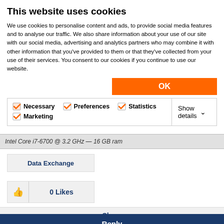This website uses cookies
We use cookies to personalise content and ads, to provide social media features and to analyse our traffic. We also share information about your use of our site with our social media, advertising and analytics partners who may combine it with other information that you've provided to them or that they've collected from your use of their services. You consent to our cookies if you continue to use our website.
[Figure (screenshot): Cookie consent dialog with OK button and checkboxes for Necessary, Preferences, Statistics, Marketing categories with Show details dropdown]
Intel Core i7-6700 @ 3.2 GHz - 16 GB ram
Data Exchange
0 Likes
Share
Reply